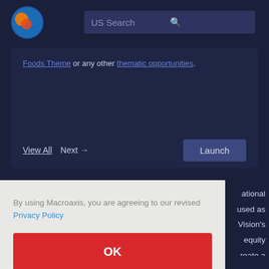[Figure (logo): Macroaxis globe logo with orange and blue coloring]
US Search
Foods Theme or any other thematic opportunities.
View All  Next →
Launch
By using Macroaxis, you are agreeing to our revised Privacy Policy
OK
national used as Vision's equity reate a akdown ideas.
Macroaxis investment ideas are predefined, sector focused